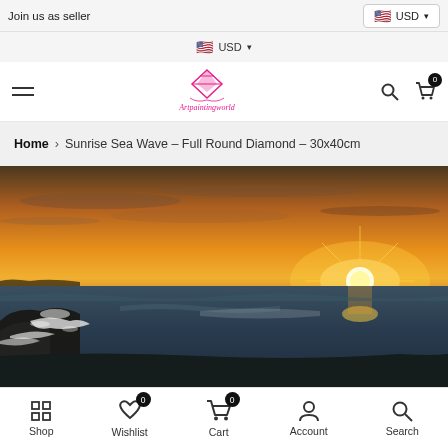Join us as seller | USD
USD
[Figure (logo): Artpaintingworld logo with pink diamond icon and pink italic text]
Home > Sunrise Sea Wave – Full Round Diamond – 30x40cm
[Figure (photo): Panoramic sunrise over sea waves with golden sky and crashing waves on rocks]
Shop | Wishlist (0) | Cart (0) | Account | Search